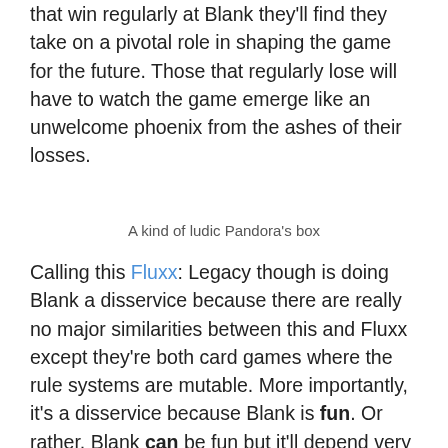that win regularly at Blank they'll find they take on a pivotal role in shaping the game for the future. Those that regularly lose will have to watch the game emerge like an unwelcome phoenix from the ashes of their losses.
A kind of ludic Pandora's box
Calling this Fluxx: Legacy though is doing Blank a disservice because there are really no major similarities between this and Fluxx except they're both card games where the rule systems are mutable. More importantly, it's a disservice because Blank is fun. Or rather, Blank can be fun but it'll depend very much on the people with which you play. Or perhaps it won't. God, you can see why I'm having difficulties even